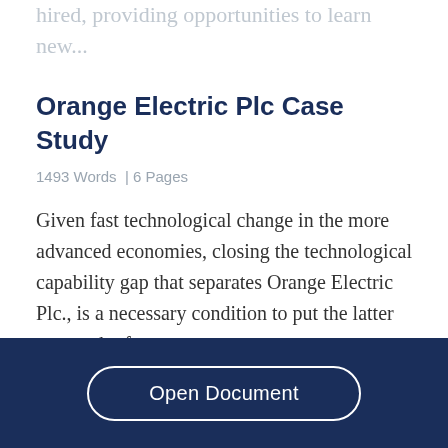hired, providing opportunities to learn new...
Orange Electric Plc Case Study
1493 Words  | 6 Pages
Given fast technological change in the more advanced economies, closing the technological capability gap that separates Orange Electric Plc., is a necessary condition to put the latter on a path of
[Figure (other): Dark navy blue footer bar with an 'Open Document' button styled with a white rounded border]